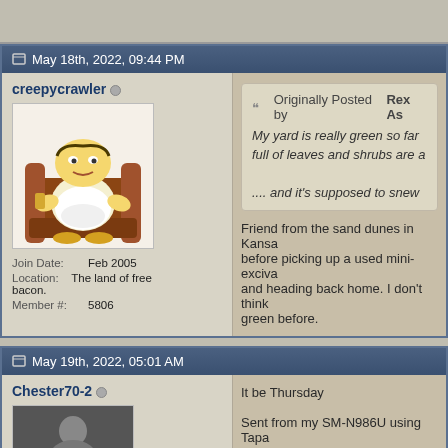May 18th, 2022, 09:44 PM
creepycrawler
Join Date: Feb 2005
Location: The land of free bacon.
Member #: 5806
Originally Posted by Rex As
My yard is really green so far full of leaves and shrubs are a
.... and it's supposed to snew
Friend from the sand dunes in Kansa before picking up a used mini-exciva and heading back home. I don't think green before.
May 19th, 2022, 05:01 AM
Chester70-2
It be Thursday
Sent from my SM-N986U using Tapa